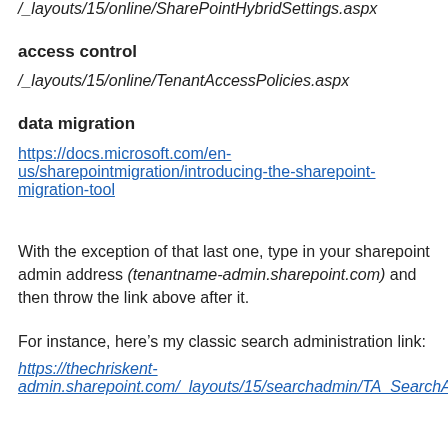/_layouts/15/online/SharePointHybridSettings.aspx
access control
/_layouts/15/online/TenantAccessPolicies.aspx
data migration
https://docs.microsoft.com/en-us/sharepointmigration/introducing-the-sharepoint-migration-tool
With the exception of that last one, type in your sharepoint admin address (tenantname-admin.sharepoint.com) and then throw the link above after it.
For instance, here’s my classic search administration link:
https://thechriskent-admin.sharepoint.com/_layouts/15/searchadmin/TA_SearchAdministration.aspx